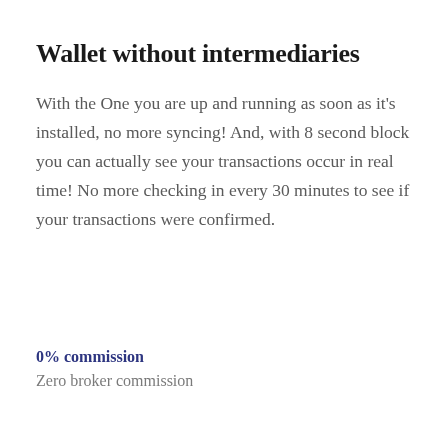Wallet without intermediaries
With the One you are up and running as soon as it's installed, no more syncing! And, with 8 second block you can actually see your transactions occur in real time! No more checking in every 30 minutes to see if your transactions were confirmed.
0% commission
Zero broker commission